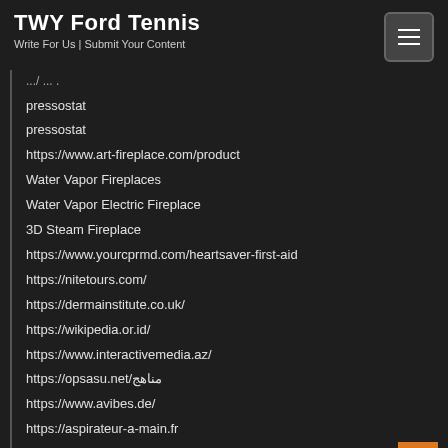TWY Ford Tennis
Write For Us | Submit Your Content
...pressostat
pressostat
pressostat
https://www.art-fireplace.com/product
Water Vapor Fireplaces
Water Vapor Electric Fireplace
3D Steam Fireplace
https://www.yourcprmd.com/heartsaver-first-aid
https://nitetours.com/
https://dermainstitute.co.uk/
https://wikipedia.or.id/
https://www.interactivemedia.az/
https://opsasu.net/مناهج
https://www.avibes.de/
https://aspirateur-a-main.fr
https://traveldestinationaddicts.com/
https://safeplayground.net/